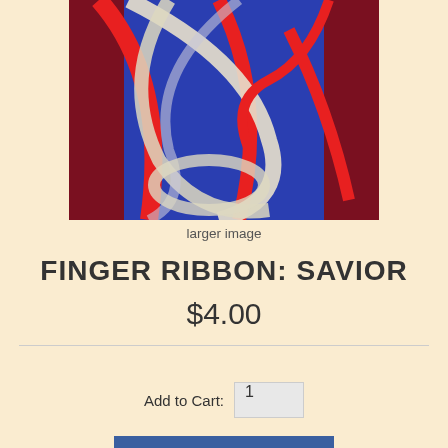[Figure (photo): Photo of colorful ribbons (red, white/cream, transparent) arranged on a blue background, tangled and overlapping.]
larger image
FINGER RIBBON: SAVIOR
$4.00
Add to Cart: 1